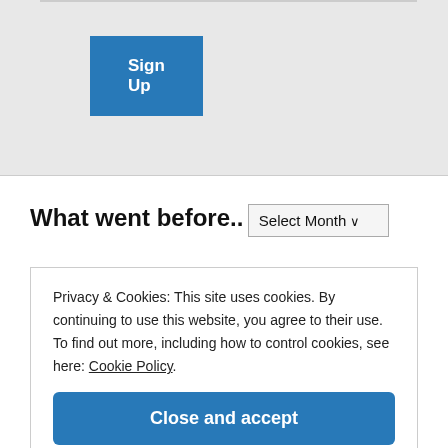[Figure (screenshot): Sign Up button — blue rectangle with white bold text 'Sign Up' on a light grey background]
What went before..
Select Month
Privacy & Cookies: This site uses cookies. By continuing to use this website, you agree to their use.
To find out more, including how to control cookies, see here: Cookie Policy
Close and accept